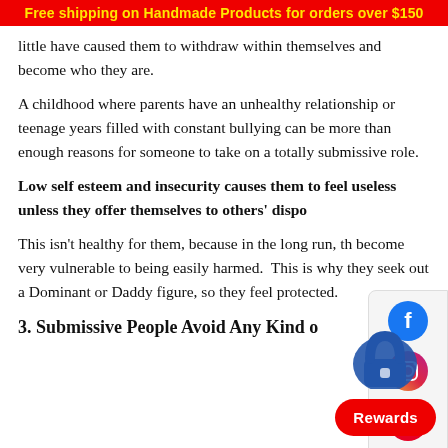Free shipping on Handmade Products for orders over $150
little have caused them to withdraw within themselves and become who they are.
A childhood where parents have an unhealthy relationship or teenage years filled with constant bullying can be more than enough reasons for someone to take on a totally submissive role.
Low self esteem and insecurity causes them to feel useless unless they offer themselves to others' dispo
This isn't healthy for them, because in the long run, th become very vulnerable to being easily harmed. This is why they seek out a Dominant or Daddy figure, so they feel protected.
3. Submissive People Avoid Any Kind o